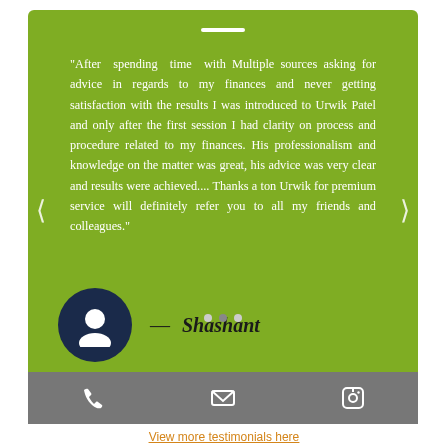"After spending time with Multiple sources asking for advice in regards to my finances and never getting satisfaction with the results I was introduced to Urwik Patel and only after the first session I had clarity on process and procedure related to my finances. His professionalism and knowledge on the matter was great, his advice was very clear and results were achieved.... Thanks a ton Urwik for premium service will definitely refer you to all my friends and colleagues."
[Figure (illustration): Dark navy circular avatar icon with white silhouette of a person]
— Shashant
[Figure (infographic): Grey bottom toolbar with phone, email, and Facebook icons in white]
View more testimonials here